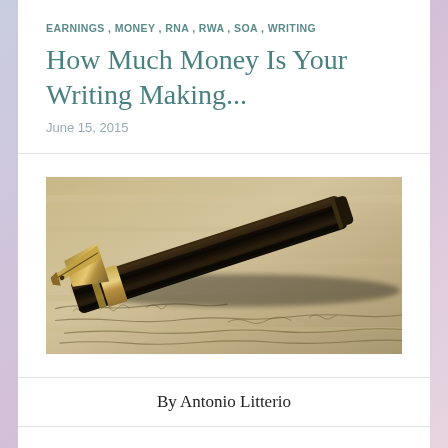EARNINGS , MONEY , RNA , RWA , SOA , WRITING
How Much Money Is Your Writing Making...
June 15, 2015
[Figure (photo): Close-up photograph of a fountain pen nib resting on handwritten cursive text on paper]
By Antonio Litterio